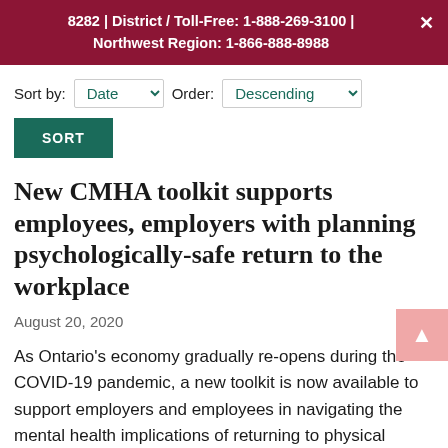8282 | District / Toll-Free: 1-888-269-3100 | Northwest Region: 1-866-888-8988
Sort by: Date Order: Descending
SORT
New CMHA toolkit supports employees, employers with planning psychologically-safe return to the workplace
August 20, 2020
As Ontario's economy gradually re-opens during the COVID-19 pandemic, a new toolkit is now available to support employers and employees in navigating the mental health implications of returning to physical